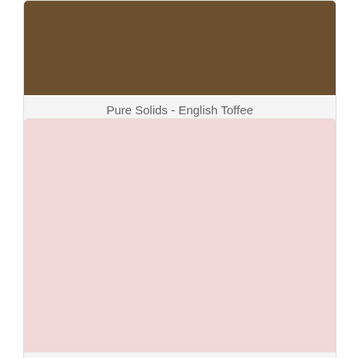[Figure (illustration): Product card for Pure Solids - English Toffee showing a brown color swatch]
Pure Solids - English Toffee
$10.00
[Figure (illustration): Product card for Pure Solids - Ethereal Pink showing a light pink color swatch]
Pure Solids - Ethereal Pink
$10.00